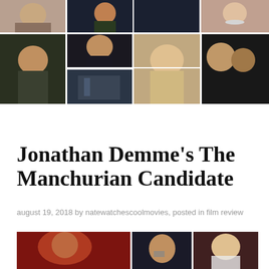[Figure (photo): Collage of movie stills from The Manchurian Candidate (2004) showing various characters in different scenes - soldiers, politicians, and dramatic close-ups]
Jonathan Demme’s The Manchurian Candidate
august 19, 2018 by natewatchescoolmovies, posted in film review
[Figure (photo): Second collage of movie stills from The Manchurian Candidate showing Denzel Washington, a man on a phone, and Meryl Streep, plus additional close-up scenes]